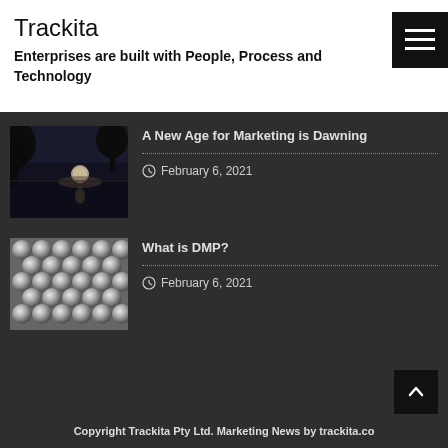Trackita
Enterprises are built with People, Process and Technology
[Figure (screenshot): Black hamburger menu button with three horizontal white lines on black background]
[Figure (photo): Night sky photo showing moon rising over water with tree silhouettes]
A New Age for Marketing is Dawning
February 6, 2021
[Figure (photo): Close-up photo of a grid of metallic spheres/balls arranged in a pattern]
What is DMP?
February 6, 2021
Copyright Trackita Pty Ltd. Marketing News by trackita.co